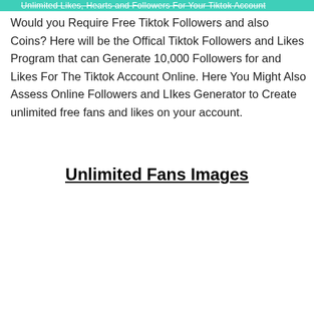Unlimited Likes, Hearts and Followers For Your Tiktok Account
Would you Require Free Tiktok Followers and also Coins? Here will be the Offical Tiktok Followers and Likes Program that can Generate 10,000 Followers for and Likes For The Tiktok Account Online. Here You Might Also Assess Online Followers and LIkes Generator to Create unlimited free fans and likes on your account.
Unlimited Fans Images